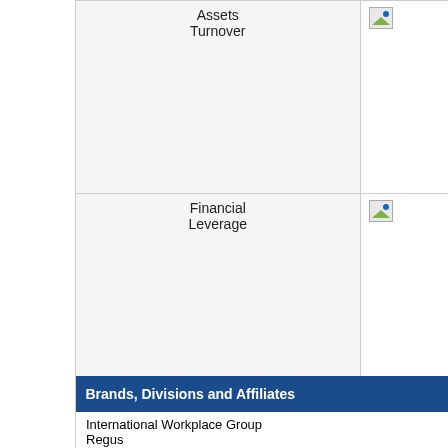|  |  |
| --- | --- |
| Assets Turnover | [chart] |
| Financial Leverage | [chart] |
|  |  |
| Brands, Divisions and Affiliates | Top Salaries |
| --- | --- |
| International Workplace Group
Regus | NameTitle |